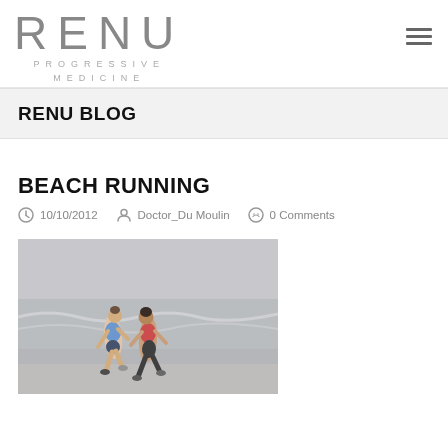RENU PROGRESSIVE MEDICINE
RENU BLOG
BEACH RUNNING
10/10/2012   Doctor_Du Moulin   0 Comments
[Figure (photo): Two women running on a beach near the ocean waves]